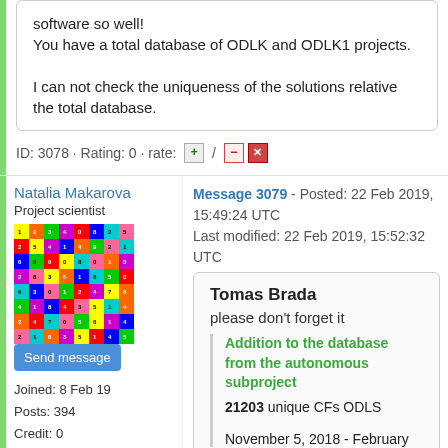software so well!
You have a total database of ODLK and ODLK1 projects.

I can not check the uniqueness of the solutions relative the total database.
ID: 3078 · Rating: 0 · rate: [+] / [-] [x]
Natalia Makarova
Project scientist
[Figure (illustration): Colorful grid of numbered squares forming a Latin square or similar combinatorial puzzle, avatar image for Natalia Makarova]
Send message
Joined: 8 Feb 19
Posts: 394
Credit: 0
RAC: 0
Message 3079 - Posted: 22 Feb 2019, 15:49:24 UTC
Last modified: 22 Feb 2019, 15:52:32 UTC
Tomas Brada
please don't forget it
Addition to the database from the autonomous subproject
21203 unique CFs ODLS
November 5, 2018 - February